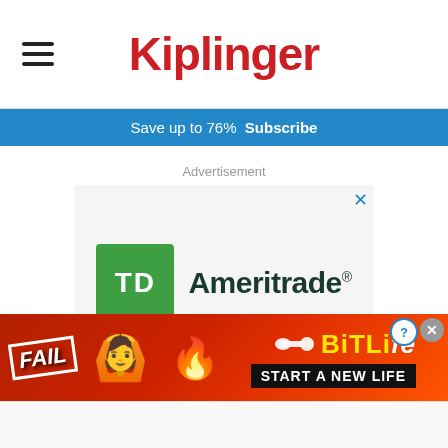Kiplinger
Save up to 76%  Subscribe
Advertisement
[Figure (logo): TD Ameritrade logo: green TD box with white TD lettering next to dark green Ameritrade® text]
Get the trading platform
[Figure (infographic): BitLife mobile game advertisement banner: red fiery background with FAIL text, person facepalm emoji, flame emoji, sperm icon, BitLife logo in yellow, and START A NEW LIFE text in black box]